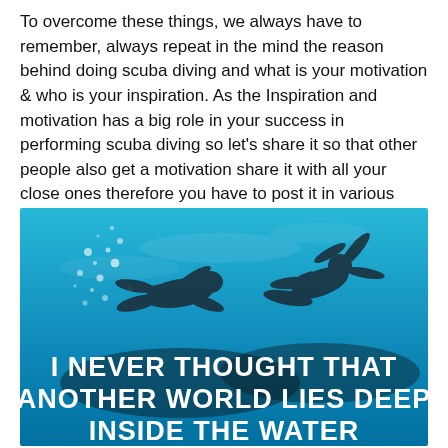To overcome these things, we always have to remember, always repeat in the mind the reason behind doing scuba diving and what is your motivation & who is your inspiration. As the Inspiration and motivation has a big role in your success in performing scuba diving so let's share it so that other people also get a motivation share it with all your close ones therefore you have to post it in various social media sites with a perfect inspirational and motivational scuba diving captions.
[Figure (photo): Underwater photo showing silhouettes of two scuba divers swimming, with blue water and bubbles, overlaid with bold white text: 'I NEVER THOUGHT THAT ANOTHER WORLD LIES DEEP INSIDE THE WATER']